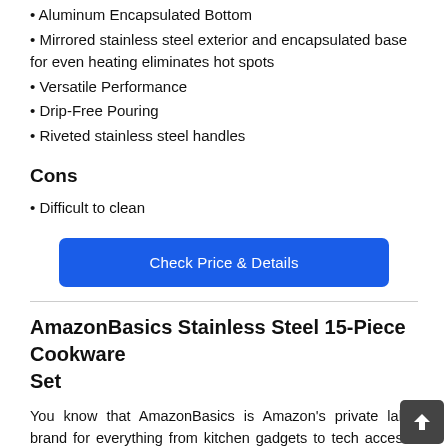• Aluminum Encapsulated Bottom
• Mirrored stainless steel exterior and encapsulated base for even heating eliminates hot spots
• Versatile Performance
• Drip-Free Pouring
• Riveted stainless steel handles
Cons
• Difficult to clean
[Figure (other): Blue button labelled 'Check Price & Details']
AmazonBasics Stainless Steel 15-Piece Cookware Set
You know that AmazonBasics is Amazon's private label brand for everything from kitchen gadgets to tech accessories, they're able to add new products to the AmazonBasics b